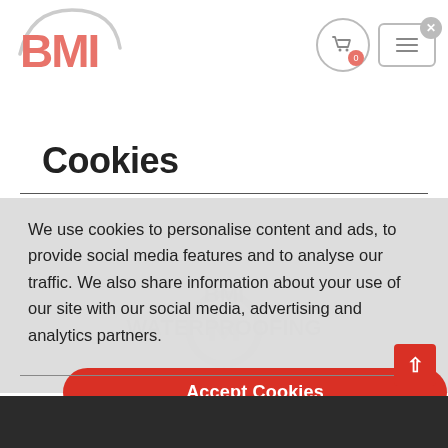[Figure (logo): BMI logo with red bold text and grey arc shape above]
Cookies
We use cookies to personalise content and ads, to provide social media features and to analyse our traffic. We also share information about your use of our site with our social media, advertising and analytics partners.
Accept Cookies
Cookie Settings